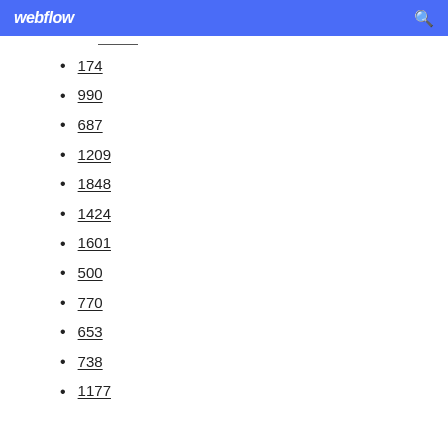webflow
174
990
687
1209
1848
1424
1601
500
770
653
738
1177